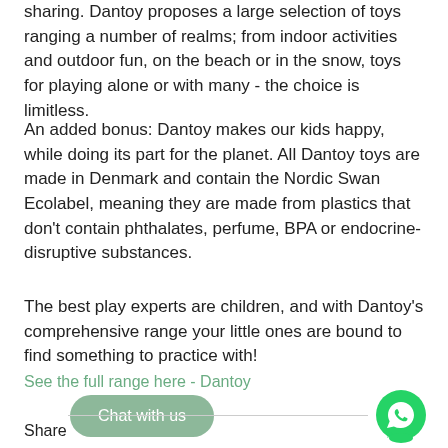sharing. Dantoy proposes a large selection of toys ranging a number of realms; from indoor activities and outdoor fun, on the beach or in the snow, toys for playing alone or with many - the choice is limitless.
An added bonus: Dantoy makes our kids happy, while doing its part for the planet. All Dantoy toys are made in Denmark and contain the Nordic Swan Ecolabel, meaning they are made from plastics that don't contain phthalates, perfume, BPA or endocrine-disruptive substances.
The best play experts are children, and with Dantoy's comprehensive range your little ones are bound to find something to practice with!
See the full range here - Dantoy
Chat with us
[Figure (logo): WhatsApp green phone icon in a speech bubble]
Share